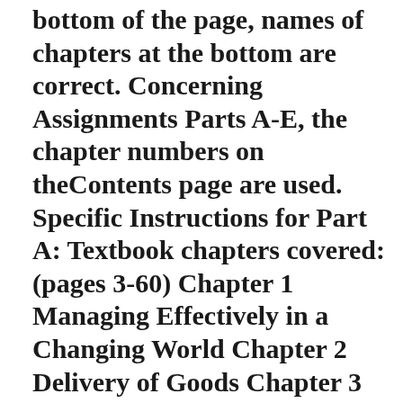bottom of the page, names of chapters at the bottom are correct. Concerning Assignments Parts A-E, the chapter numbers on theContents page are used. Specific Instructions for Part A: Textbook chapters covered: (pages 3-60) Chapter 1 Managing Effectively in a Changing World Chapter 2 Delivery of Goods Chapter 3 Title & Risk of Loss Chapter 4 The Organizational Environment of John